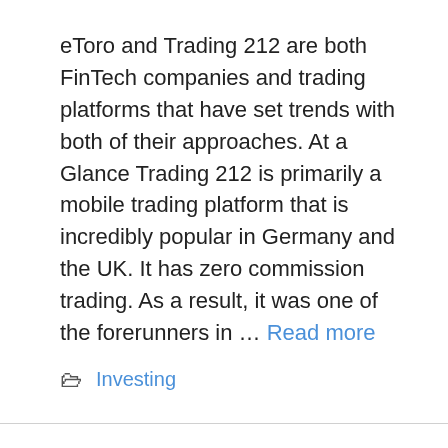eToro and Trading 212 are both FinTech companies and trading platforms that have set trends with both of their approaches.  At a Glance  Trading 212 is primarily a mobile trading platform that is incredibly popular in Germany and the UK. It has zero commission trading. As a result, it was one of the forerunners in … Read more
Investing
eToro vs Voyager